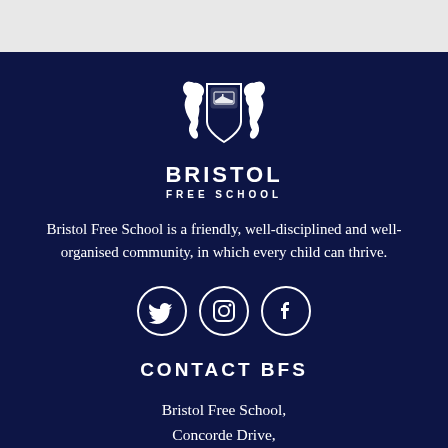[Figure (logo): Bristol Free School crest logo with two seahorses flanking a shield, with text BRISTOL FREE SCHOOL below]
Bristol Free School is a friendly, well-disciplined and well-organised community, in which every child can thrive.
[Figure (illustration): Three circular social media icons: Twitter (bird), Instagram (camera), Facebook (f)]
CONTACT BFS
Bristol Free School,
Concorde Drive,